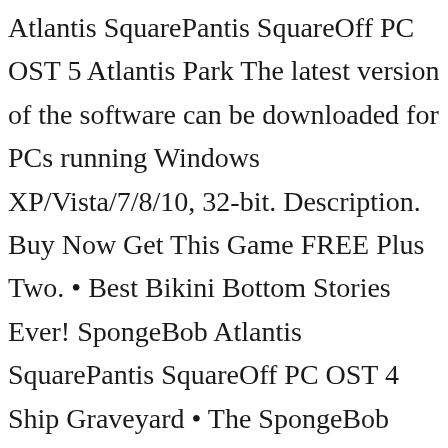Atlantis SquarePantis SquareOff PC OST 5 Atlantis Park The latest version of the software can be downloaded for PCs running Windows XP/Vista/7/8/10, 32-bit. Description. Buy Now Get This Game FREE Plus Two. • Best Bikini Bottom Stories Ever! SpongeBob Atlantis SquarePantis SquareOff PC OST 4 Ship Graveyard • The SpongeBob Super Square Collection. SpongeBob Atlantis SquareOff - Released on January 23, 2008 3: 1,635: Apr 14, 10 1:20 PM by karolyneb . completing the information in the infobox. My Trip to Atlantis -